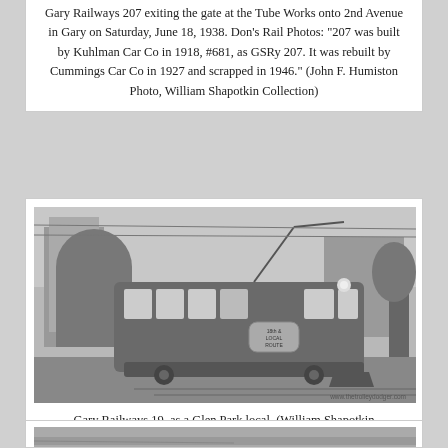Gary Railways 207 exiting the gate at the Tube Works onto 2nd Avenue in Gary on Saturday, June 18, 1938. Don's Rail Photos: "207 was built by Kuhlman Car Co in 1918, #681, as GSRy 207. It was rebuilt by Cummings Car Co in 1927 and scrapped in 1946." (John F. Humiston Photo, William Shapotkin Collection)
[Figure (photo): Black and white photograph of a Gary Railways streetcar/trolley car number 19, shown as a Glen Park local, photographed on a street with industrial buildings in the background. Watermark reads www.thetrolleydodger.com]
Gary Railways 19, as a Glen Park local. (William Shapotkin Collection)
[Figure (photo): Partial black and white photograph visible at the bottom of the page, cropped.]